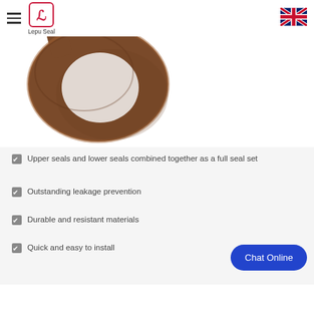Lepu Seal
[Figure (photo): A copper/bronze colored ring-shaped seal component photographed on white background, showing the top portion of a circular washer-like seal with a small tab protrusion.]
Upper seals and lower seals combined together as a full seal set
Outstanding leakage prevention
Durable and resistant materials
Quick and easy to install